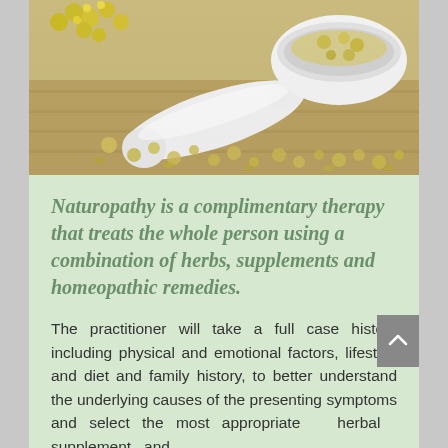[Figure (photo): Photo of white mortar and pestle with dried chamomile flowers on a wooden surface, with another white mortar bowl filled with dried herbs in the background.]
Naturopathy is a complimentary therapy that treats the whole person using a combination of herbs, supplements and homeopathic remedies.
The practitioner will take a full case history including physical and emotional factors, lifestyle and diet and family history, to better understand the underlying causes of the presenting symptoms and select the most appropriate herbal supplement and